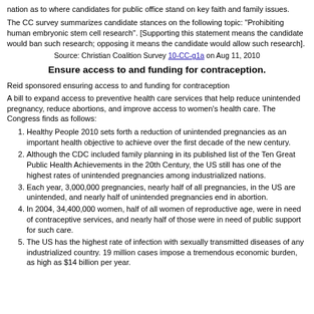nation as to where candidates for public office stand on key faith and family issues.
The CC survey summarizes candidate stances on the following topic: "Prohibiting human embryonic stem cell research". [Supporting this statement means the candidate would ban such research; opposing it means the candidate would allow such research].
Source: Christian Coalition Survey 10-CC-g1a on Aug 11, 2010
Ensure access to and funding for contraception.
Reid sponsored ensuring access to and funding for contraception
A bill to expand access to preventive health care services that help reduce unintended pregnancy, reduce abortions, and improve access to women's health care. The Congress finds as follows:
Healthy People 2010 sets forth a reduction of unintended pregnancies as an important health objective to achieve over the first decade of the new century.
Although the CDC included family planning in its published list of the Ten Great Public Health Achievements in the 20th Century, the US still has one of the highest rates of unintended pregnancies among industrialized nations.
Each year, 3,000,000 pregnancies, nearly half of all pregnancies, in the US are unintended, and nearly half of unintended pregnancies end in abortion.
In 2004, 34,400,000 women, half of all women of reproductive age, were in need of contraceptive services, and nearly half of those were in need of public support for such care.
The US has the highest rate of infection with sexually transmitted diseases of any industrialized country. 19 million cases impose a tremendous economic burden, as high as $14 billion per year.